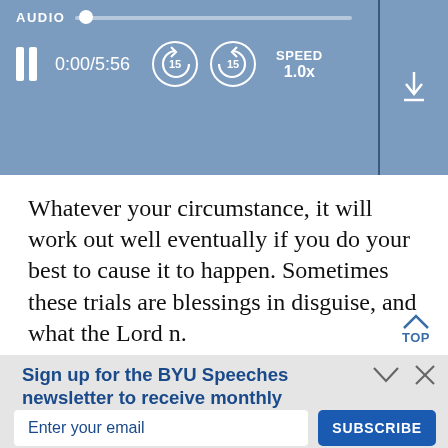[Figure (screenshot): Audio player bar with blue background showing AUDIO label, progress slider, pause button, time 0:00/5:56, rewind 15s, forward 15s buttons, SPEED 1.0x, and download icon]
Whatever your circumstance, it will work out well eventually if you do your best to cause it to happen. Sometimes these trials are blessings in disguise, and what the Lord n.
TOP
Sign up for the BYU Speeches newsletter to receive monthly inspiration.
A little hope in your inbox.
Enter your email
SUBSCRIBE